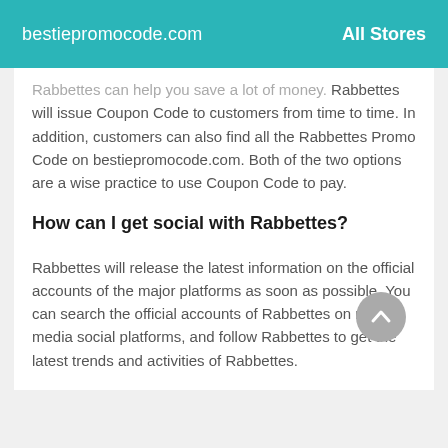bestiepromocode.com   All Stores
Rabbettes can help you save a lot of money. Rabbettes will issue Coupon Code to customers from time to time. In addition, customers can also find all the Rabbettes Promo Code on bestiepromocode.com. Both of the two options are a wise practice to use Coupon Code to pay.
How can I get social with Rabbettes?
Rabbettes will release the latest information on the official accounts of the major platforms as soon as possible. You can search the official accounts of Rabbettes on major media social platforms, and follow Rabbettes to get the latest trends and activities of Rabbettes.